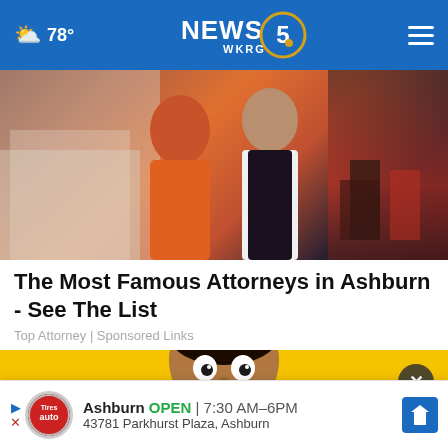78° NEWS 5 WKRG
[Figure (photo): Photo of two people at an event, one wearing orange and one in black formal wear, at what appears to be a banquet hall]
The Most Famous Attorneys in Ashburn - See The List
Top Attorney | Sponsored Links
[Figure (photo): Photo of a surprised young man against a yellow background, shown from the forehead up with wide eyes]
Ashburn OPEN | 7:30 AM–6PM
43781 Parkhurst Plaza, Ashburn